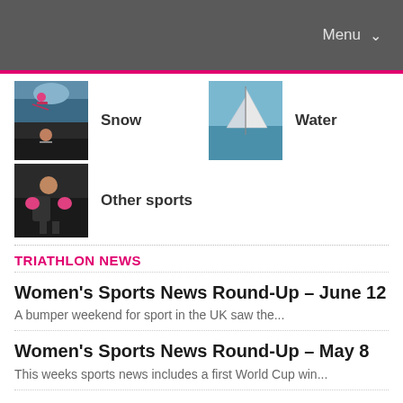Menu ▾
[Figure (photo): Snow sports navigation image (skier)]
Snow
[Figure (photo): Water sports navigation image (sailing)]
Water
[Figure (photo): Other sports navigation image (boxing)]
Other sports
TRIATHLON NEWS
Women's Sports News Round-Up – June 12
A bumper weekend for sport in the UK saw the...
Women's Sports News Round-Up – May 8
This weeks sports news includes a first World Cup win...
Women's Sports News Round-Up – March 6
In a jam-packed weekend of sport, Laura Muir and Asha...